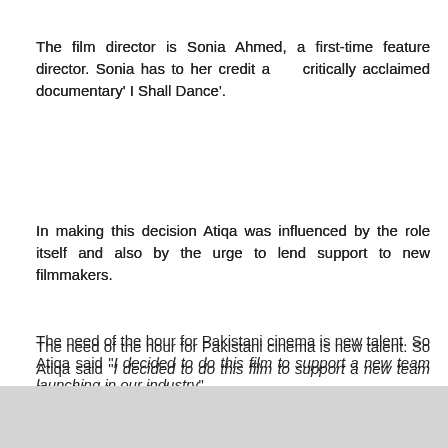The film director is Sonia Ahmed, a first-time feature director. Sonia has to her credit a    critically acclaimed documentary' I Shall Dance'.
In making this decision Atiqa was influenced by the role itself and also by the urge to lend support to new filmmakers.
The need of the hour for Pakistani cinema is new talent. So Atiqa said "I decided to do this film to support a new team launching in our industry".
Tags:  Celebrity News   News